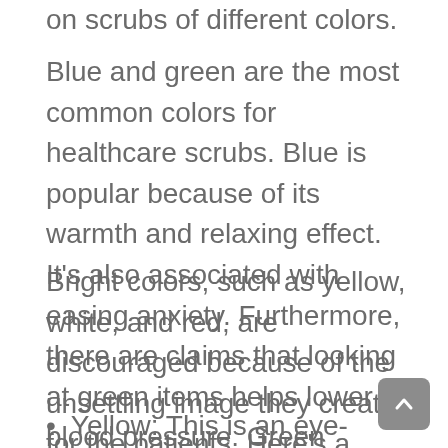on scrubs of different colors.
Blue and green are the most common colors for healthcare scrubs. Blue is popular because of its warmth and relaxing effect. It’s also associated with easing anxiety. Furthermore, there are claims that looking at green items helps lower blood pressure. Green scrubs are also useful in hiding bloodstains.
Bright colors, such as yellow, white, and red, are discouraged because of the unsettling image they create for the patients. Here’s a breakdown of non-preferred colors and the reasons why they aren’t widely used:
Yellow: This is an eye-catching and bold color